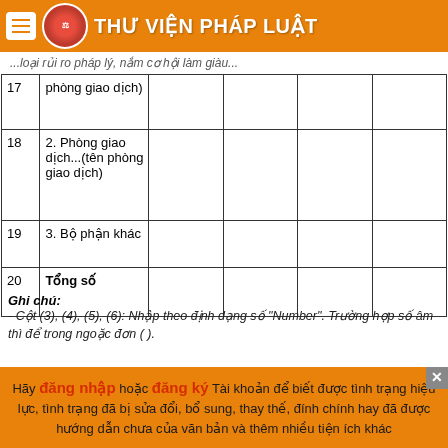THƯ VIỆN PHÁP LUẬT - ...loại rủi ro pháp lý, nắm cơ hội làm giàu...
|  |  |  |  |  |  |
| --- | --- | --- | --- | --- | --- |
| 17 | phòng giao dịch) |  |  |  |  |
| 18 | 2. Phòng giao dịch...(tên phòng giao dịch) |  |  |  |  |
| 19 | 3. Bộ phận khác |  |  |  |  |
| 20 | Tổng số |  |  |  |  |
Ghi chú:
- Cột (3), (4), (5), (6): Nhập theo định dạng số "Number". Trường hợp số âm thì để trong ngoặc đơn ( ).
Hãy đăng nhập hoặc đăng ký Tài khoản để biết được tình trạng hiệu lực, tình trạng đã bị sửa đổi, bổ sung, thay thế, đính chính hay đã được hướng dẫn chưa của văn bản và thêm nhiều tiện ích khác